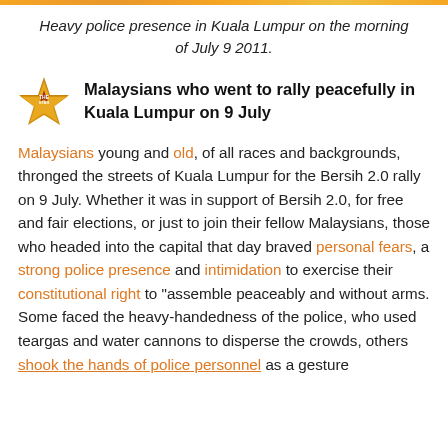Heavy police presence in Kuala Lumpur on the morning of July 9 2011.
Malaysians who went to rally peacefully in Kuala Lumpur on 9 July
Malaysians young and old, of all races and backgrounds, thronged the streets of Kuala Lumpur for the Bersih 2.0 rally on 9 July. Whether it was in support of Bersih 2.0, for free and fair elections, or just to join their fellow Malaysians, those who headed into the capital that day braved personal fears, a strong police presence and intimidation to exercise their constitutional right to "assemble peaceably and without arms. Some faced the heavy-handedness of the police, who used teargas and water cannons to disperse the crowds, others shook the hands of police personnel as a gesture